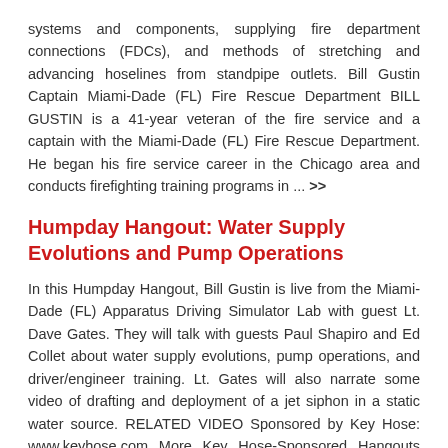systems and components, supplying fire department connections (FDCs), and methods of stretching and advancing hoselines from standpipe outlets. Bill Gustin Captain Miami-Dade (FL) Fire Rescue Department BILL GUSTIN is a 41-year veteran of the fire service and a captain with the Miami-Dade (FL) Fire Rescue Department. He began his fire service career in the Chicago area and conducts firefighting training programs in ... >>
Humpday Hangout: Water Supply Evolutions and Pump Operations
In this Humpday Hangout, Bill Gustin is live from the Miami-Dade (FL) Apparatus Driving Simulator Lab with guest Lt. Dave Gates. They will talk with guests Paul Shapiro and Ed Collet about water supply evolutions, pump operations, and driver/engineer training. Lt. Gates will also narrate some video of drafting and deployment of a jet siphon in a static water source. RELATED VIDEO Sponsored by Key Hose: www.keyhose.com More Key Hose-Sponsored Hangouts Humpday Hangout: Water Supply Operations Humpday Hangout: Air Management ... >>
Humpday Hangout: Veteran Fire Students at FDIC